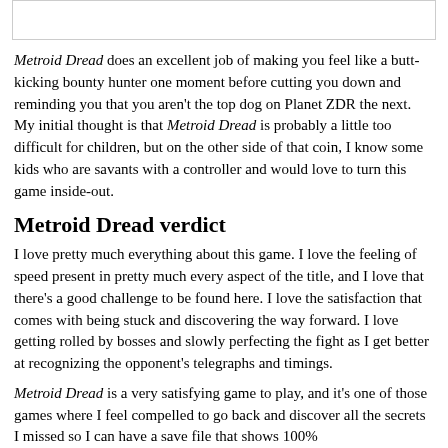[Figure (other): White rectangular box at top of page, bordered]
Metroid Dread does an excellent job of making you feel like a butt-kicking bounty hunter one moment before cutting you down and reminding you that you aren't the top dog on Planet ZDR the next. My initial thought is that Metroid Dread is probably a little too difficult for children, but on the other side of that coin, I know some kids who are savants with a controller and would love to turn this game inside-out.
Metroid Dread verdict
I love pretty much everything about this game. I love the feeling of speed present in pretty much every aspect of the title, and I love that there's a good challenge to be found here. I love the satisfaction that comes with being stuck and discovering the way forward. I love getting rolled by bosses and slowly perfecting the fight as I get better at recognizing the opponent's telegraphs and timings.
Metroid Dread is a very satisfying game to play, and it's one of those games where I feel compelled to go back and discover all the secrets I missed so I can have a save file that shows 100%